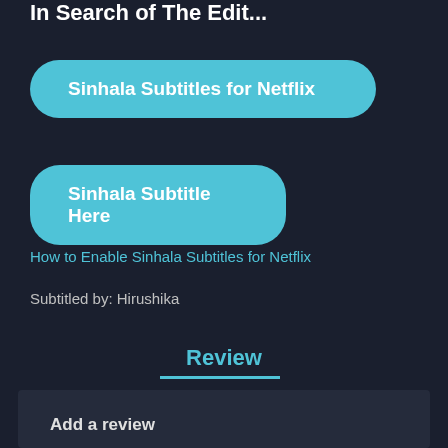In Search of The Edit
Sinhala Subtitles for Netflix
Sinhala Subtitle Here
How to Enable Sinhala Subtitles for Netflix
Subtitled by: Hirushika
Review
Add a review